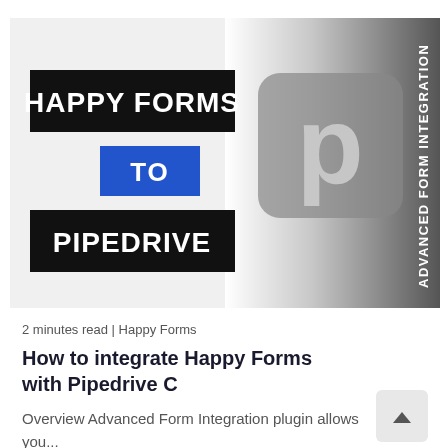[Figure (illustration): Hero image showing 'Happy Forms TO Pipedrive' text with black and blue background banners on the left and a Pipedrive logo (letter p in grey rounded square) on a gradient grey/white background on the right, with vertical text 'ADVANCED FORM INTEGRATION' on the far right edge.]
2 minutes read | Happy Forms
How to integrate Happy Forms with Pipedrive C
Overview Advanced Form Integration plugin allows you...